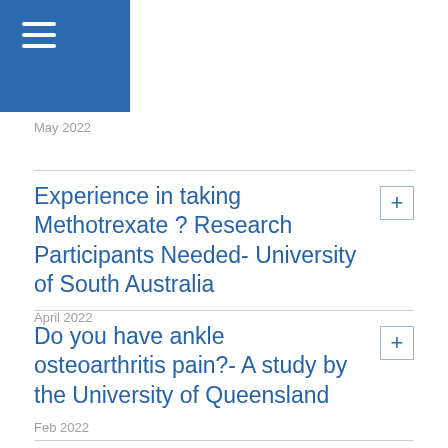[Figure (other): Blue navigation menu bar with hamburger/menu icon (three horizontal white lines) in top-left corner]
May 2022
Experience in taking Methotrexate ? Research Participants Needed- University of South Australia
April 2022
Do you have ankle osteoarthritis pain?- A study by the University of Queensland
Feb 2022